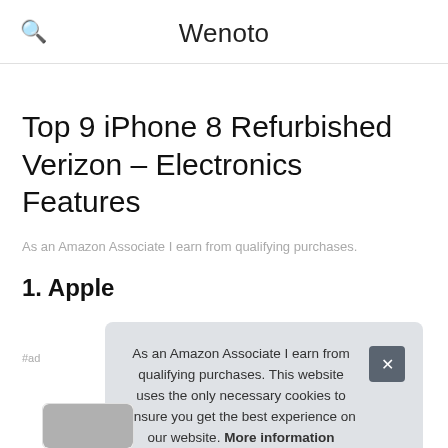Wenoto
Top 9 iPhone 8 Refurbished Verizon – Electronics Features
As an Amazon Associate I earn from qualifying purchases.
1. Apple
#ad
As an Amazon Associate I earn from qualifying purchases. This website uses the only necessary cookies to ensure you get the best experience on our website. More information